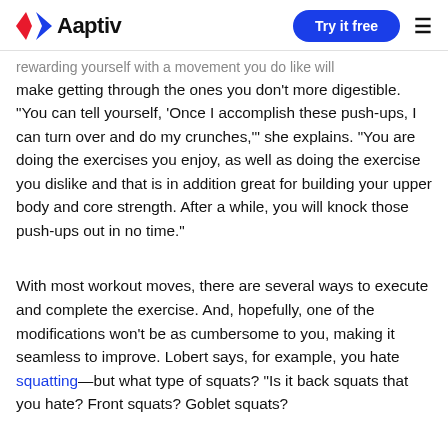Aaptiv | Try it free
rewarding yourself with a movement you do like will make getting through the ones you don't more digestible. "You can tell yourself, 'Once I accomplish these push-ups, I can turn over and do my crunches,'" she explains. "You are doing the exercises you enjoy, as well as doing the exercise you dislike and that is in addition great for building your upper body and core strength. After a while, you will knock those push-ups out in no time."
With most workout moves, there are several ways to execute and complete the exercise. And, hopefully, one of the modifications won't be as cumbersome to you, making it seamless to improve. Lobert says, for example, you hate squatting—but what type of squats? "Is it back squats that you hate? Front squats? Goblet squats?